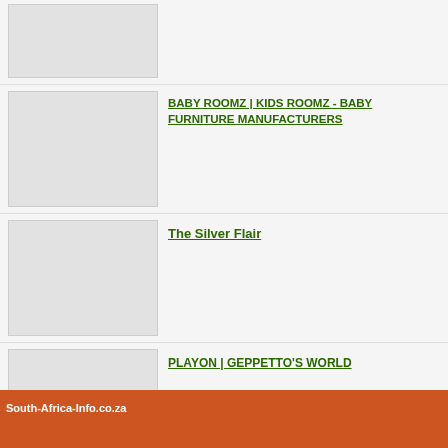[Figure (photo): Placeholder image box (listing 1, partial at top)]
BABY ROOMZ | KIDS ROOMZ - BABY FURNITURE MANUFACTURERS
[Figure (photo): Placeholder image box (listing 2 - Baby Roomz)]
The Silver Flair
[Figure (photo): Placeholder image box (listing 3 - The Silver Flair)]
PLAYON | GEPPETTO'S WORLD
[Figure (photo): Placeholder image box (listing 4 - Playon)]
Add your free business listing here
South-Africa-Info.co.za